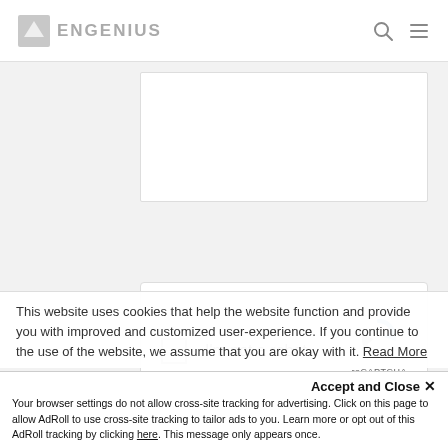ENGENIUS
[Figure (screenshot): White form card area (text input field, partially visible)]
[Figure (screenshot): reCAPTCHA widget: checkbox, 'I'm not a robot' label, reCAPTCHA logo with Privacy - Terms links]
[Figure (screenshot): Red 'Send' button]
This website uses cookies that help the website function and provide you with improved and customized user-experience. If you continue to the use of the website, we assume that you are okay with it. Read More
Accept and Close ✕
Your browser settings do not allow cross-site tracking for advertising. Click on this page to allow AdRoll to use cross-site tracking to tailor ads to you. Learn more or opt out of this AdRoll tracking by clicking here. This message only appears once.